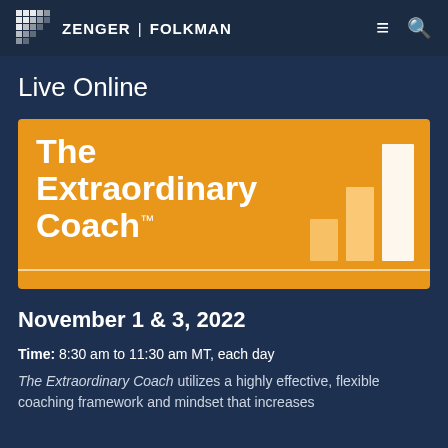ZENGER | FOLKMAN
Live Online
[Figure (logo): The Extraordinary Coach program banner with orange background and ascending bar chart graphic]
November 1 & 3, 2022
Time: 8:30 am to 11:30 am MT, each day
The Extraordinary Coach utilizes a highly effective, flexible coaching framework and mindset that increases